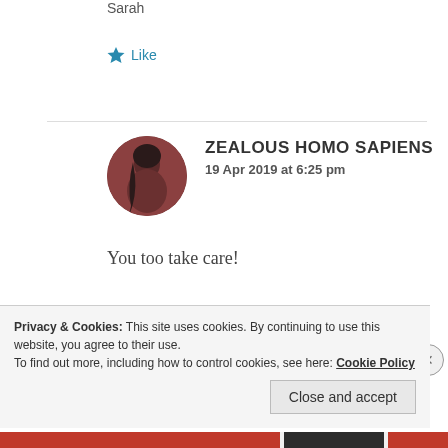Sarah
★ Like
ZEALOUS HOMO SAPIENS
19 Apr 2019 at 6:25 pm
You too take care!
★ Like
Privacy & Cookies: This site uses cookies. By continuing to use this website, you agree to their use.
To find out more, including how to control cookies, see here: Cookie Policy
Close and accept